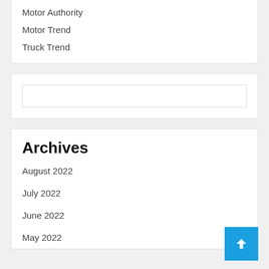Motor Authority
Motor Trend
Truck Trend
Archives
August 2022
July 2022
June 2022
May 2022